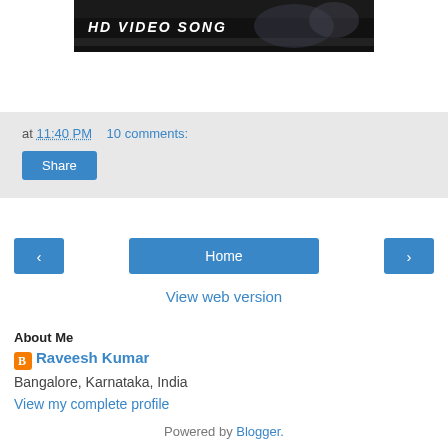[Figure (screenshot): Video thumbnail with dark background and white italic bold text reading 'HD VIDEO SONG']
at 11:40 PM   10 comments:
Share
‹   Home   ›
View web version
About Me
Raveesh Kumar
Bangalore, Karnataka, India
View my complete profile
Powered by Blogger.